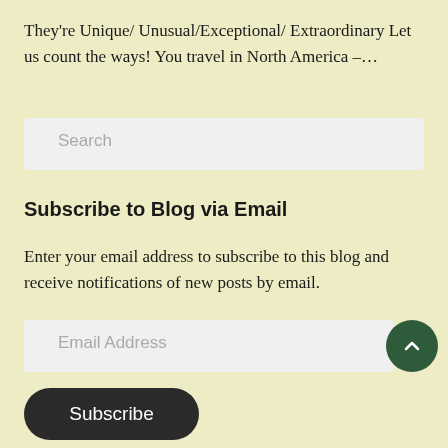They’re Unique/ Unusual/Exceptional/ Extraordinary Let us count the ways! You travel in North America –…
Subscribe to Blog via Email
Enter your email address to subscribe to this blog and receive notifications of new posts by email.